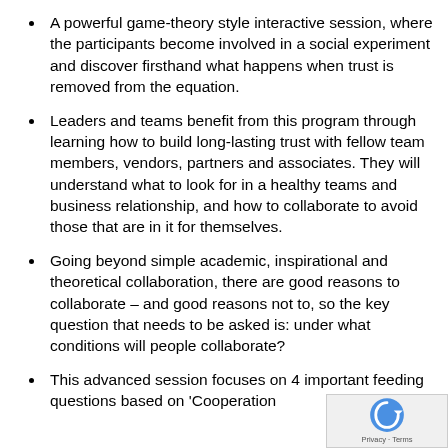A powerful game-theory style interactive session, where the participants become involved in a social experiment and discover firsthand what happens when trust is removed from the equation.
Leaders and teams benefit from this program through learning how to build long-lasting trust with fellow team members, vendors, partners and associates. They will understand what to look for in a healthy teams and business relationship, and how to collaborate to avoid those that are in it for themselves.
Going beyond simple academic, inspirational and theoretical collaboration, there are good reasons to collaborate – and good reasons not to, so the key question that needs to be asked is: under what conditions will people collaborate?
This advanced session focuses on 4 important feeding questions based on 'Cooperation